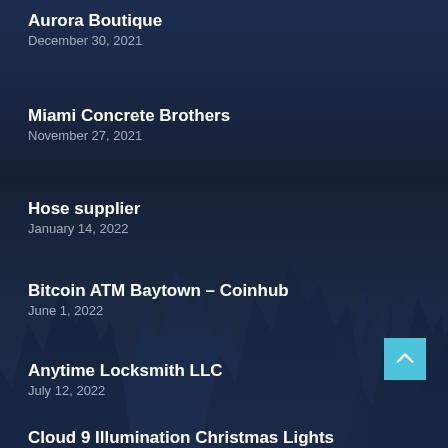Aurora Boutique
December 30, 2021
Miami Concrete Brothers
November 27, 2021
Hose supplier
January 14, 2022
Bitcoin ATM Baytown – Coinhub
June 1, 2022
Anytime Locksmith LLC
July 12, 2022
Cloud 9 Illumination Christmas Lights